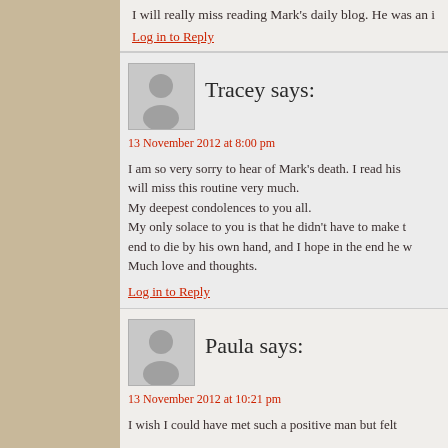I will really miss reading Mark's daily blog. He was an i
Log in to Reply
Tracey says:
13 November 2012 at 8:00 pm
I am so very sorry to hear of Mark's death. I read his will miss this routine very much.
My deepest condolences to you all.
My only solace to you is that he didn't have to make t end to die by his own hand, and I hope in the end he w Much love and thoughts.
Log in to Reply
Paula says:
13 November 2012 at 10:21 pm
I wish I could have met such a positive man but felt